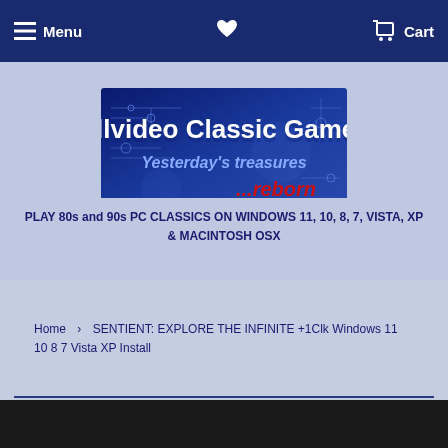Menu  [heart]  Cart
[Figure (logo): Allvideo Classic Games logo — 'Yesterday's treasures ...reborn' on a blue circuit-board background]
PLAY 80s and 90s PC CLASSICS ON WINDOWS 11, 10, 8, 7, VISTA, XP & MACINTOSH OSX
Home › SENTIENT: EXPLORE THE INFINITE +1Clk Windows 11 10 8 7 Vista XP Install